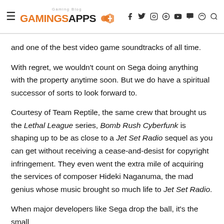GAMINGSAPPS Gaming Blog
and one of the best video game soundtracks of all time.
With regret, we wouldn't count on Sega doing anything with the property anytime soon. But we do have a spiritual successor of sorts to look forward to.
Courtesy of Team Reptile, the same crew that brought us the Lethal League series, Bomb Rush Cyberfunk is shaping up to be as close to a Jet Set Radio sequel as you can get without receiving a cease-and-desist for copyright infringement. They even went the extra mile of acquiring the services of composer Hideki Naganuma, the mad genius whose music brought so much life to Jet Set Radio.
When major developers like Sega drop the ball, it's the small